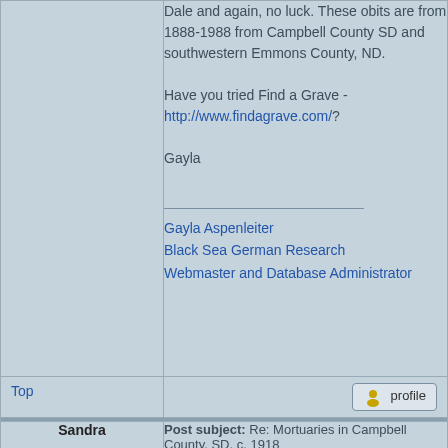Dale and again, no luck. These obits are from 1888-1988 from Campbell County SD and southwestern Emmons County, ND.

Have you tried Find a Grave - http://www.findagrave.com/?

Gayla
Gayla Aspenleiter
Black Sea German Research
Webmaster and Database Administrator
Top
profile
Post subject: Re: Mortuaries in Campbell County, SD, c. 1918
Posted: Fri Feb 24, 2012 7:20 am
Sandra
offline
Joined: Thu Jan 12, 2012 12:25
We've looked everywhere except at the mortuaries, and there have been multiple possibilities given us. One is